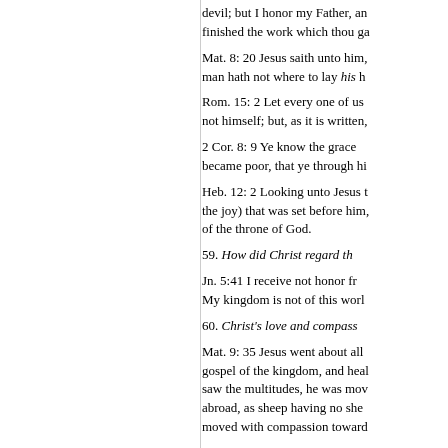devil; but I honor my Father, an finished the work which thou ga
Mat. 8: 20 Jesus saith unto him, man hath not where to lay his he
Rom. 15: 2 Let every one of us not himself; but, as it is written,
2 Cor. 8: 9 Ye know the grace became poor, that ye through hi
Heb. 12: 2 Looking unto Jesus t the joy) that was set before him, of the throne of God.
59. How did Christ regard the
Jn. 5:41 I receive not honor fr My kingdom is not of this worl
60. Christ's love and compass
Mat. 9: 35 Jesus went about all gospel of the kingdom, and heal saw the multitudes, he was mov abroad, as sheep having no she moved with compassion toward